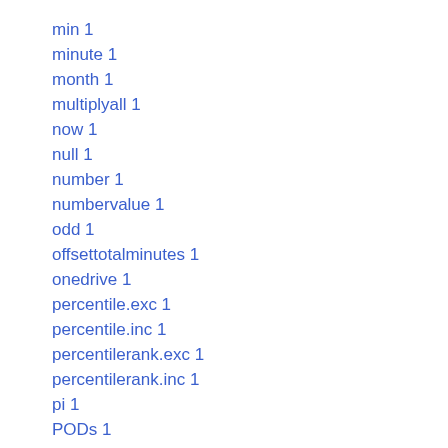min 1
minute 1
month 1
multiplyall 1
now 1
null 1
number 1
numbervalue 1
odd 1
offsettotalminutes 1
onedrive 1
percentile.exc 1
percentile.inc 1
percentilerank.exc 1
percentilerank.inc 1
pi 1
PODs 1
PostGRE 1
power 1
product 1
proper 1